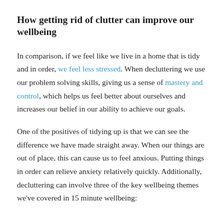How getting rid of clutter can improve our wellbeing
In comparison, if we feel like we live in a home that is tidy and in order, we feel less stressed. When decluttering we use our problem solving skills, giving us a sense of mastery and control, which helps us feel better about ourselves and increases our belief in our ability to achieve our goals.
One of the positives of tidying up is that we can see the difference we have made straight away. When our things are out of place, this can cause us to feel anxious. Putting things in order can relieve anxiety relatively quickly. Additionally, decluttering can involve three of the key wellbeing themes we've covered in 15 minute wellbeing: